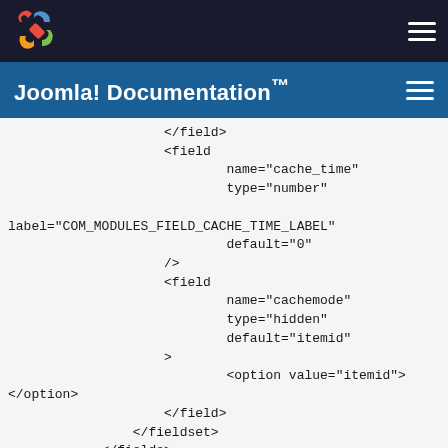Joomla! Documentation™
[Figure (screenshot): XML code snippet showing field elements for cache_time and cachemode configuration in Joomla module XML]
</field>
<field
    name="cache_time"
    type="number"
label="COM_MODULES_FIELD_CACHE_TIME_LABEL"
    default="0"
/>
<field
    name="cachemode"
    type="hidden"
    default="itemid"
>
    <option value="itemid">
</option>
    </field>
    </fieldset>
  </fields>
</config>